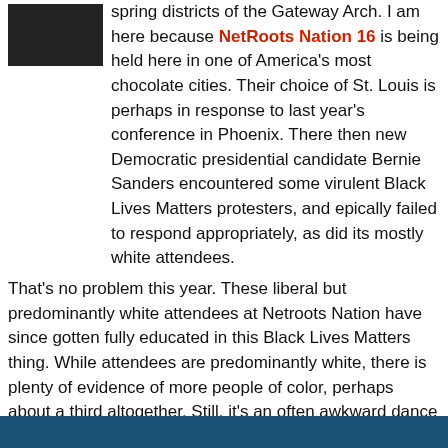[Figure (photo): Small black and white photo of a person, partially visible in top-left corner]
spring districts of the Gateway Arch. I am here because NetRoots Nation 16 is being held here in one of America's most chocolate cities. Their choice of St. Louis is perhaps in response to last year's conference in Phoenix. There then new Democratic presidential candidate Bernie Sanders encountered some virulent Black Lives Matters protesters, and epically failed to respond appropriately, as did its mostly white attendees.
That's no problem this year. These liberal but predominantly white attendees at Netroots Nation have since gotten fully educated in this Black Lives Matters thing. While attendees are predominantly white, there is plenty of evidence of more people of color, perhaps about a third altogether. Still, it's an often awkward dance between whites and people of color here. This is not an issues with the LGBTQ community, where seeing a black transgender in high heels asking to be pointed to the men's bathroom is wholly unremarkable. (This happened to me yesterday while volunteering at the registration desk. Up the escalators and make a U turn, I told her while noting that her high heels and gams would be the envy of many women here.)
[Figure (photo): Blue banner image at the bottom of the page]